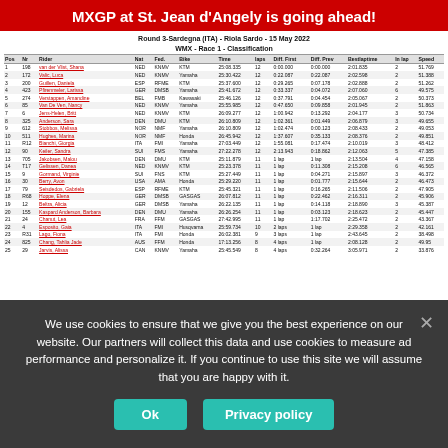MXGP at St. Jean d'Angely is going ahead!
Round 3-Sardegna (ITA) - Riola Sardo - 15 May 2022
WMX - Race 1 - Classification
| Pos | Nr | Rider | Nat | Fed. | Bike | Time | laps | Diff. First | Diff. Prev | Bestlaptime | In lap | Speed |
| --- | --- | --- | --- | --- | --- | --- | --- | --- | --- | --- | --- | --- |
| 1 | 198 | van der Vlist, Shana | NED | KNMV | KTM | 25:08.335 | 12 | 0:00.000 | 0:00.000 | 2:01.835 | 2 | 51.769 |
| 2 | 172 | Valic, Luca | NED | KNMV | Yamaha | 25:30.422 | 12 | 0:22.087 | 0:22.087 | 2:02.598 | 2 | 51.388 |
| 3 | 200 | Guillen, Daniela | ESP | RFME | KTM | 25:37.600 | 12 | 0:29.265 | 0:07.178 | 2:02.888 | 2 | 51.262 |
| 4 | 423 | Pfirenmeler, Larissa | GER | DMSB | Yamaha | 25:41.672 | 12 | 0:33.337 | 0:04.072 | 2:07.060 | 6 | 49.575 |
| 5 | 274 | Verstappen, Amandine | BEL | FMB | Kawasaki | 25:46.126 | 12 | 0:37.791 | 0:04.454 | 2:05.067 | 2 | 50.373 |
| 6 | 85 | Van De Ven, Nancy | NED | KNMV | Yamaha | 25:55.985 | 12 | 0:47.650 | 0:09.858 | 2:01.945 | 2 | 51.863 |
| 7 | 6 | Jens-Helen, Britt | NED | KNMV | KTM | 26:09.277 | 12 | 1:00.942 | 0:13.292 | 2:04.177 | 3 | 50.734 |
| 8 | 325 | Anderson, Sara | DEN | DMU | KTM | 26:10.809 | 12 | 1:02.361 | 0:01.449 | 2:06.879 | 3 | 49.655 |
| 9 | 612 | Stobbos, Melissa | NOR | NMF | Yamaha | 26:10.809 | 12 | 1:02.474 | 0:00.123 | 2:08.433 | 2 | 49.053 |
| 10 | 511 | Hughes, Marina | NOR | NMF | Honda | 26:45.942 | 12 | 1:37.607 | 0:35.133 | 2:08.376 | 2 | 49.851 |
| 11 | R12 | Bianchi, Giorgia | ITA | FMI | Yamaha | 27:03.449 | 12 | 1:55.081 | 0:17.474 | 2:10.019 | 3 | 48.412 |
| 12 | 90 | Keiler, Sandra | SUI | FMS | Yamaha | 27:22.278 | 12 | 2:13.943 | 0:18.862 | 2:12.063 | 5 | 47.385 |
| 13 | 705 | Jakobsen, Malou | DEN | DMU | KTM | 25:11.879 | 11 | 1 lap | 1 lap | 2:13.504 | 4 | 47.158 |
| 14 | T17 | Gelissen, Danea | NED | KNMV | KTM | 25:23.378 | 11 | 1 lap | 0:11.308 | 2:15.208 | 6 | 46.565 |
| 15 | 9 | Gormand, Virginie | SUI | FNS | KTM | 25:27.449 | 11 | 1 lap | 0:04.271 | 2:15.897 | 3 | 46.372 |
| 16 | 30 | Berry, Avon | USA | AMA | Honda | 25:29.220 | 11 | 1 lap | 0:01.777 | 2:15.644 | 2 | 46.473 |
| 17 | 79 | Seisdedos, Gabriela | ESP | RFME | KTM | 25:45.321 | 11 | 1 lap | 0:16.265 | 2:11.506 | 2 | 47.905 |
| 18 | R68 | Hoppe, Elena | GER | DMSB | GASGAS | 26:07.812 | 11 | 1 lap | 0:22.462 | 2:16.311 | 2 | 45.906 |
| 19 | 12 | Beltra, Alicia | GER | DMSB | Yamaha | 26:22.135 | 11 | 1 lap | 0:14.118 | 2:18.890 | 3 | 45.387 |
| 20 | 155 | Kaspard Anderson, Barbara | DEN | DMU | Yamaha | 26:26.254 | 11 | 1 lap | 0:03.123 | 2:18.623 | 2 | 45.447 |
| 21 | 24 | Chanut, Lea | FRA | FFM | GASGAS | 27:42.995 | 11 | 1 lap | 1:17.702 | 2:25.472 | 2 | 43.367 |
| 22 | 4 | Esposito, Gaia | ITA | FMI | Husqvarna | 25:59.734 | 10 | 2 laps | 1 lap | 2:29.358 | 2 | 42.161 |
| 23 | R31 | Lago, Fiona | ITA | FMI | Honda | 26:02.381 | 9 | 3 laps | 1 lap | 2:43.645 | 2 | 38.498 |
| 24 | 825 | Chang, Tahlia Jade | AUS | FFM | Honda | 17:13.256 | 8 | 4 laps | 1 lap | 2:08.128 | 2 | 49.95 |
| 25 | 29 | Jarvis, Alissa | CAN | KNMV | Yamaha | 25:45.549 | 8 | 4 laps | 0:32.264 | 3:05.971 | 2 | 33.876 |
We use cookies to ensure that we give you the best experience on our website. Our partners will collect this data and use cookies to measure ad performance and personalize it. If you continue to use this site we will assume that you are happy with it.